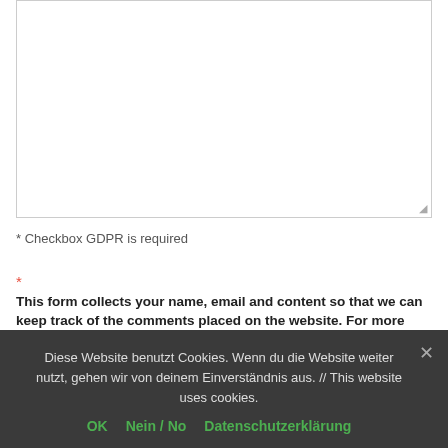[Figure (other): Empty textarea input box with resize handle in bottom-right corner]
* Checkbox GDPR is required
*
This form collects your name, email and content so that we can keep track of the comments placed on the website. For more info
Diese Website benutzt Cookies. Wenn du die Website weiter nutzt, gehen wir von deinem Einverständnis aus. // This website uses cookies.
OK   Nein / No   Datenschutzerklärung